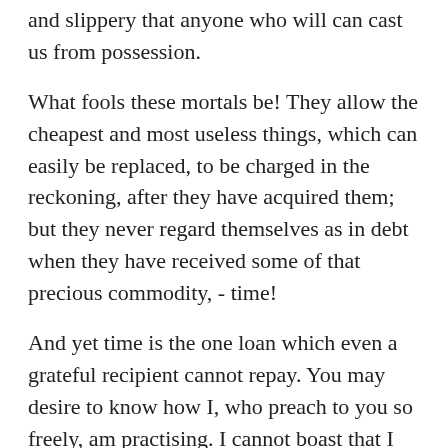and slippery that anyone who will can cast us from possession.
What fools these mortals be! They allow the cheapest and most useless things, which can easily be replaced, to be charged in the reckoning, after they have acquired them; but they never regard themselves as in debt when they have received some of that precious commodity, - time!
And yet time is the one loan which even a grateful recipient cannot repay. You may desire to know how I, who preach to you so freely, am practising. I cannot boast that I waste nothing, but I can at least tell you what I am wasting, and the cause and manner of the loss; I can give you the reasons why I am a poor man.
My situation, however, is the same as that of many who are reduced to slender means through no fault of their own: What is the state of things, then? I do not regard a man as poor, if the little which remains is enough for him.